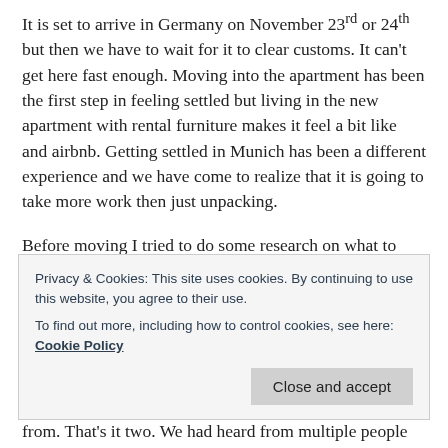It is set to arrive in Germany on November 23rd or 24th but then we have to wait for it to clear customs. It can't get here fast enough. Moving into the apartment has been the first step in feeling settled but living in the new apartment with rental furniture makes it feel a bit like and airbnb. Getting settled in Munich has been a different experience and we have come to realize that it is going to take more work then just unpacking.
Before moving I tried to do some research on what to expect once we arrived. We knew that most apartments would come without a kitchen but we hoped to find one with a kitchen in place. From talking with people
Privacy & Cookies: This site uses cookies. By continuing to use this website, you agree to their use.
To find out more, including how to control cookies, see here: Cookie Policy
from. That's it two. We had heard from multiple people